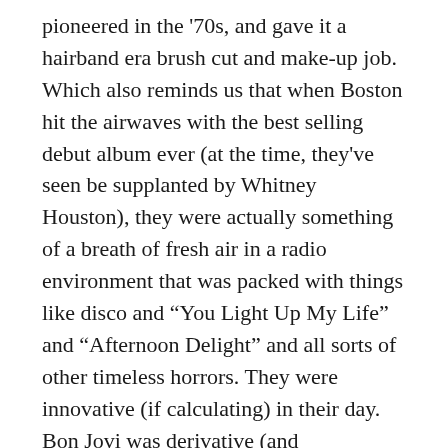pioneered in the '70s, and gave it a hairband era brush cut and make-up job. Which also reminds us that when Boston hit the airwaves with the best selling debut album ever (at the time, they've seen be supplanted by Whitney Houston), they were actually something of a breath of fresh air in a radio environment that was packed with things like disco and “You Light Up My Life” and “Afternoon Delight” and all sorts of other timeless horrors. They were innovative (if calculating) in their day. Bon Jovi was derivative (and calculating) in theirs. And the radio dial test stands: when I hear Boston’s earliest cuts on the radio, I don’t change the station. I haven't listened to a Bon Jovi cut sitting in my car all the way through since, oh, I dunno, maybe ever, although I’ve been subjected to them at parties and clubs and social settings far more often than I would have liked. Looking at all the pros and cons, we therefore decree